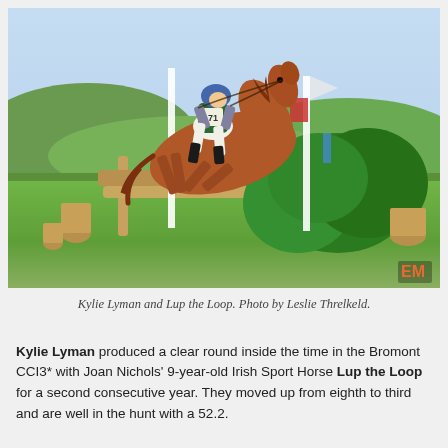[Figure (photo): Kylie Lyman riding a chestnut horse named Lup the Loop jumping over a cross-country fence made of logs with a green bushy element, at an outdoor equestrian event. The rider wears a blue helmet and green vest with number 71. Trees and hills visible in background on a sunny day.]
Kylie Lyman and Lup the Loop. Photo by Leslie Threlkeld.
Kylie Lyman produced a clear round inside the time in the Bromont CCI3* with Joan Nichols' 9-year-old Irish Sport Horse Lup the Loop for a second consecutive year. They moved up from eighth to third and are well in the hunt with a 52.2.